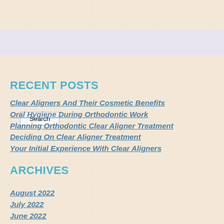RECENT POSTS
Clear Aligners And Their Cosmetic Benefits
Oral Hygiene During Orthodontic Work
Planning Orthodontic Clear Aligner Treatment
Deciding On Clear Aligner Treatment
Your Initial Experience With Clear Aligners
ARCHIVES
August 2022
July 2022
June 2022
May 2022